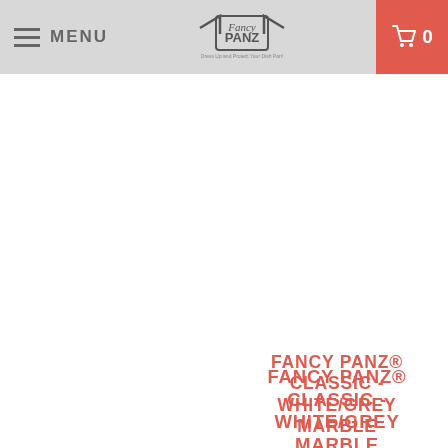MENU | Fancy Panz logo | Cart 0
FANCY PANZ® CLASSIC - WHITE/GREY MARBLE
$24.99
FANCY PANZ® CLASSIC - CHARCOAL
$24.99